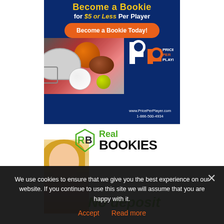[Figure (illustration): Price Per Player advertisement banner. Dark blue background with sports equipment imagery (football helmet, basketball, football, soccer ball, tennis ball). Yellow headline 'Become a Bookie for $5 or Less Per Player'. Orange 'Become a Bookie Today!' button. Price Per Player logo with website www.PricePerPlayer.com and phone 1-866-500-4934.]
[Figure (illustration): Real Bookies advertisement banner. White background with blonde woman thinking pose on left, RB logo in green and black, text 'Real BOOKIES' and 'No deposit' in green italic.]
We use cookies to ensure that we give you the best experience on our website. If you continue to use this site we will assume that you are happy with it.
Accept   Read more